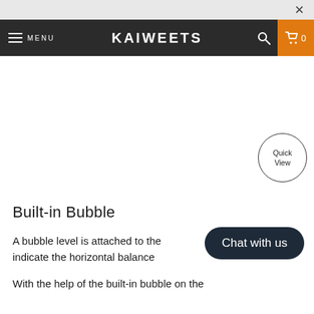×
MENU  KAIWEETS  🔍  🛒 0
[Figure (other): Large white blank image area for product photo]
[Figure (other): Quick View circular button overlay]
Built-in Bubble
A bubble level is attached to the indicate the horizontal balance
With the help of the built-in bubble on the
Chat with us